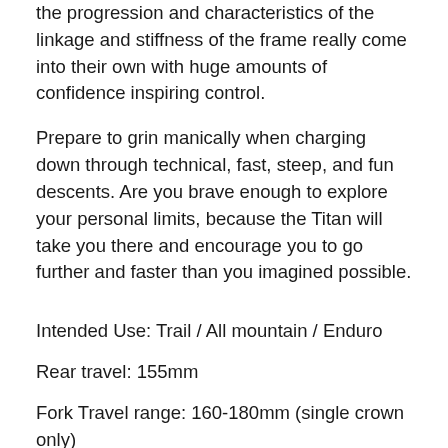the progression and characteristics of the linkage and stiffness of the frame really come into their own with huge amounts of confidence inspiring control.
Prepare to grin manically when charging down through technical, fast, steep, and fun descents. Are you brave enough to explore your personal limits, because the Titan will take you there and encourage you to go further and faster than you imagined possible.
Intended Use: Trail / All mountain / Enduro
Rear travel: 155mm
Fork Travel range: 160-180mm (single crown only)